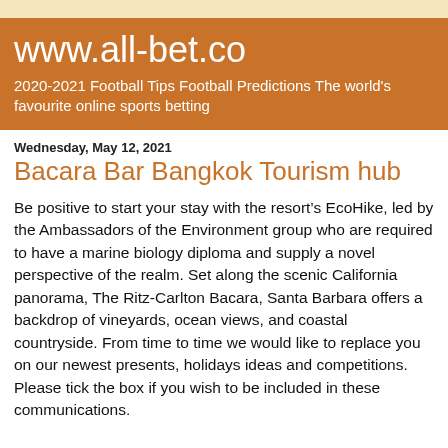www.all-bet.co
2020-2021 Football Tips Football Predictions The world's favourite online sports betting
Wednesday, May 12, 2021
Bacara Bar Bangkok Tourism hub
Be positive to start your stay with the resort’s EcoHike, led by the Ambassadors of the Environment group who are required to have a marine biology diploma and supply a novel perspective of the realm. Set along the scenic California panorama, The Ritz-Carlton Bacara, Santa Barbara offers a backdrop of vineyards, ocean views, and coastal countryside. From time to time we would like to replace you on our newest presents, holidays ideas and competitions. Please tick the box if you wish to be included in these communications.